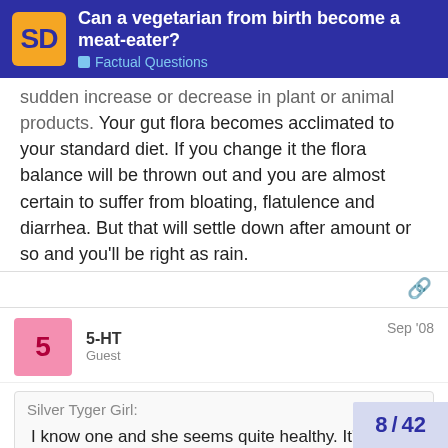Can a vegetarian from birth become a meat-eater? | Factual Questions
sudden increase or decrease in plant or animal products. Your gut flora becomes acclimated to your standard diet. If you change it the flora balance will be thrown out and you are almost certain to suffer from bloating, flatulence and diarrhea. But that will settle down after amount or so and you'll be right as rain.
5-HT | Guest | Sep '08
Silver Tyger Girl:
I know one and she seems quite healthy. It's more than possible to get the nutrients you need from a vegetarian diet.

I was under the impression that vegetar… enzymes necessary to process animal p…
8 / 42